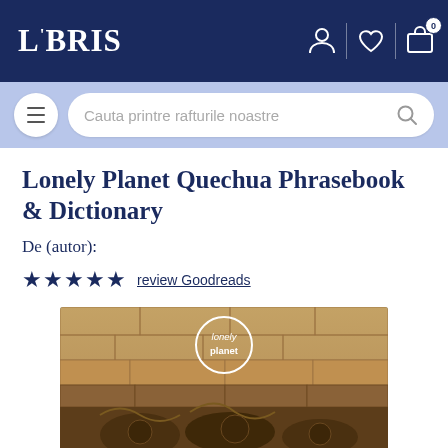LIBRIS
Lonely Planet Quechua Phrasebook & Dictionary
De (autor):
★★★★★  review Goodreads
[Figure (photo): Book cover of Lonely Planet Quechua Phrasebook & Dictionary showing a stone wall with carved decorations and the text 'Quechua' in large white letters at the bottom, with the Lonely Planet logo at the top.]